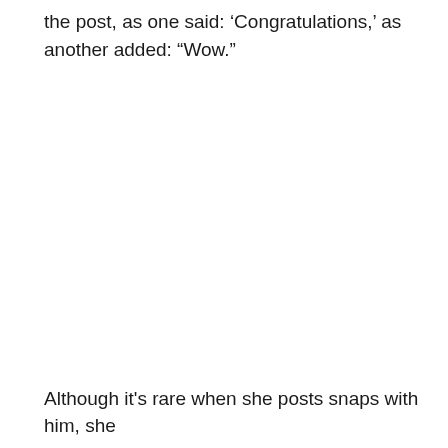the post, as one said: 'Congratulations,' as another added: "Wow."
Although it's rare when she posts snaps with him, she